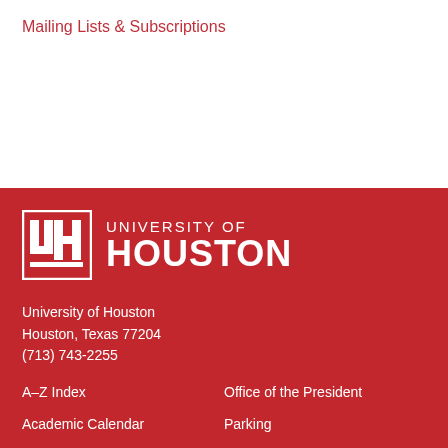Mailing Lists & Subscriptions
[Figure (logo): University of Houston logo with interlocked UH monogram and text UNIVERSITY OF HOUSTON in white on red background]
University of Houston
Houston, Texas 77204
(713) 743-2255
A–Z Index
Academic Calendar
Campus Carry Policy
Campus Map
Career Opportunities
Office of the President
Parking
Report Copyright Infringement
Discrimination and Sexual Misconduct Reporting and Awareness